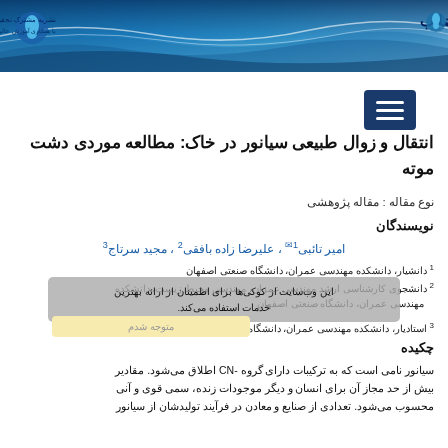[Figure (illustration): Journal header banner with blue wave design, journal logo on right, institution logo and text on left]
[Figure (other): Dark blue hamburger menu button with three white horizontal lines]
انتقال و زوال طبیعی سیانور در خاک: مطالعه موردی دشت موته
نوع مقاله : مقاله پژوهشی
نویسندگان
امیر تائبی 1 ✉ ،  علیرضا زاده بافقی 2 ،  مجید سرتاج 3
1 دانشیار، دانشکده مهندسی عمران، دانشگاه صنعتی اصفهان
2 دانشجوی کارشناسی ارشد مهندسی عمران، مهندسی محیط زیست، دانشکده مهندسی عمران، دانشگاه صنعتی اصفهان
3 استادیار، دانشکده مهندسی عمران، دانشگاه صنعتی اصفهان
چکیده
سیانور نامی است که به ترکیبات دارای گروه -CN اطلاق می‌شود. مقادیر بیش از حد مجاز آن برای انسان و دیگر موجودات زنده، سمی قوی و آنی محسوب می‌شود. تعدادی از صنایع و معادن در فرآیند تولیدشان از سیانور